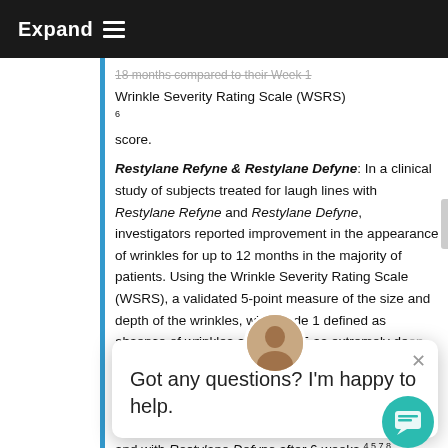Expand
18 months compared to their Week 1 Wrinkle Severity Rating Scale (WSRS) score.6
Restylane Refyne & Restylane Defyne: In a clinical study of subjects treated for laugh lines with Restylane Refyne and Restylane Defyne, investigators reported improvement in the appearance of wrinkles for up to 12 months in the majority of patients. Using the Wrinkle Severity Rating Scale (WSRS), a validated 5-point measure of the size and depth of the wrinkles, with grade 1 defined as absence of wrinkles and grade 5 as extremely deep wrinkles, investigators [Restylane Refyne subjects] [Restylane Defyne subjects] improvement. Subjects also (SSA) of wrinkle severity, with most reporting at least a 1-grade improvement in SSA scores with Restylane Refyne and with Restylane Defyne after 6 weeks.4,5,7,8